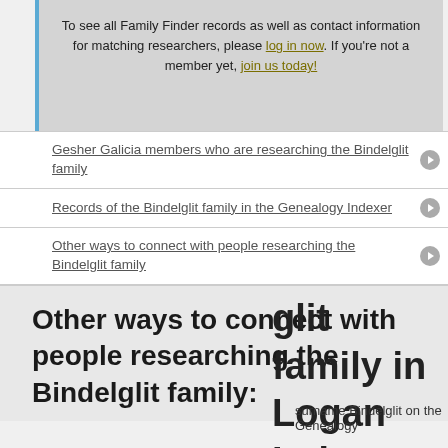To see all Family Finder records as well as contact information for matching researchers, please log in now. If you're not a member yet, join us today!
Gesher Galicia members who are researching the Bindelglit family
Records of the Bindelglit family in the Genealogy Indexer
Other ways to connect with people researching the Bindelglit family
glit family in Logan Indexer website
surname Bindelglit on the Genealogy
Other ways to connect with people researching the Bindelglit family: